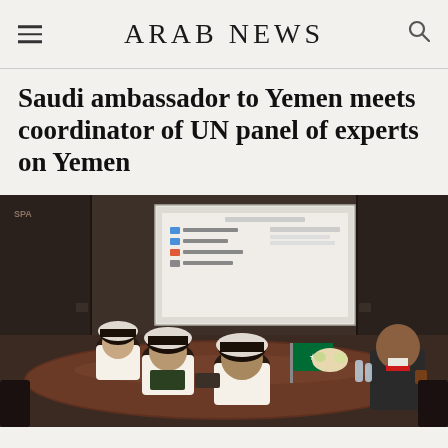ARAB NEWS
Saudi ambassador to Yemen meets coordinator of UN panel of experts on Yemen
[Figure (photo): Meeting scene at a conference table: Saudi officials in traditional white thobes and black gutras on the left side of the table, and a man in a dark suit with red tie on the right. A projection screen with slides is visible in the background in a dark wood-paneled room. A Saudi flag is on the table.]